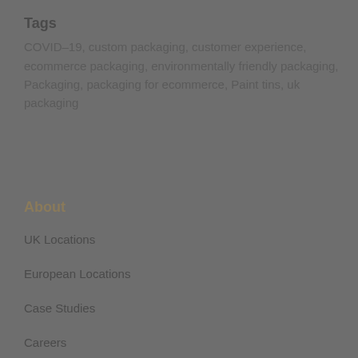Tags
COVID-19, custom packaging, customer experience, ecommerce packaging, environmentally friendly packaging, Packaging, packaging for ecommerce, Paint tins, uk packaging
About
UK Locations
European Locations
Case Studies
Careers